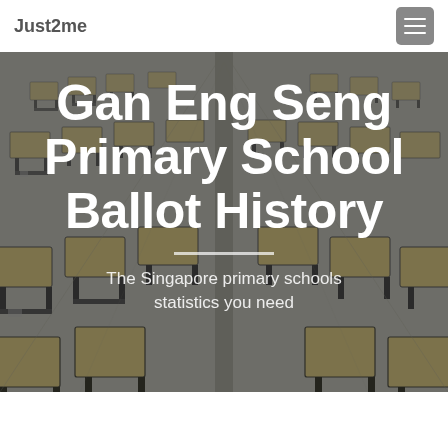Just2me
[Figure (photo): Aerial view of rows of wooden school desks and chairs in a large examination hall, shot from a perspective angle showing vanishing rows into the distance.]
Gan Eng Seng Primary School Ballot History
The Singapore primary schools statistics you need